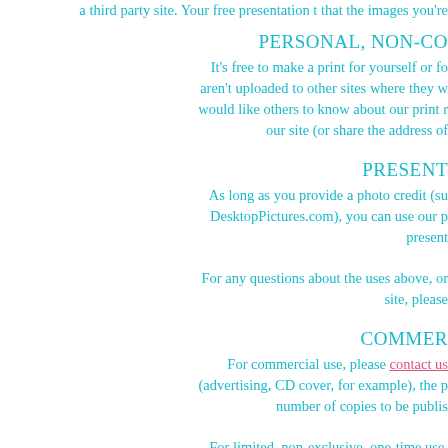a third party site. Your free presentation tool guarantees that the images you're
PERSONAL, NON-CO...
It's free to make a print for yourself or fo... aren't uploaded to other sites where they w... would like others to know about our print r... our site (or share the address of
PRESENT...
As long as you provide a photo credit (su... DesktopPictures.com), you can use our p... present...
For any questions about the uses above, or ... site, please
COMMER...
For commercial use, please contact us ... (advertising, CD cover, for example), the p... number of copies to be publis...
For limited, non-exclusive, one-time use, ... notice on the item (such as: Cover photo ©